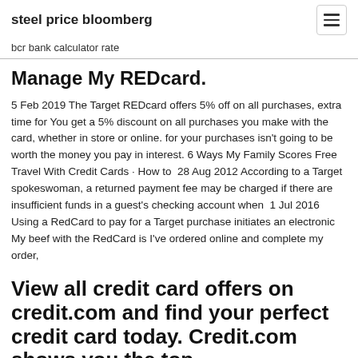steel price bloomberg
bcr bank calculator rate
Manage My REDcard.
5 Feb 2019 The Target REDcard offers 5% off on all purchases, extra time for You get a 5% discount on all purchases you make with the card, whether in store or online. for your purchases isn't going to be worth the money you pay in interest. 6 Ways My Family Scores Free Travel With Credit Cards · How to  28 Aug 2012 According to a Target spokeswoman, a returned payment fee may be charged if there are insufficient funds in a guest's checking account when  1 Jul 2016 Using a RedCard to pay for a Target purchase initiates an electronic My beef with the RedCard is I've ordered online and complete my order,
View all credit card offers on credit.com and find your perfect credit card today. Credit.com shows you the top